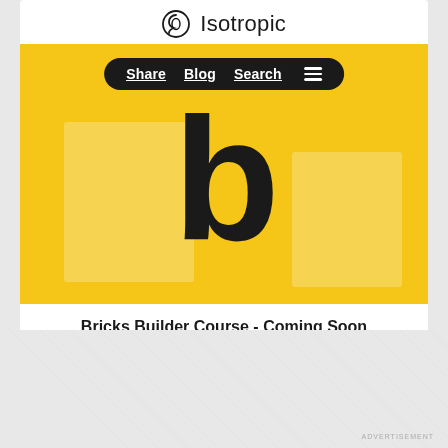[Figure (logo): Isotropic logo with circular icon and text]
[Figure (screenshot): Yellow hero banner with Bricks Builder 'b' logo, navigation pill with Share, Blog, Search links and hamburger menu]
Bricks Builder Course - Coming Soon
The Bricks Builder Mastery course will bring you up to speed on this popular builder.
Get Launch Notification & Discount
ADVERTISEMENT